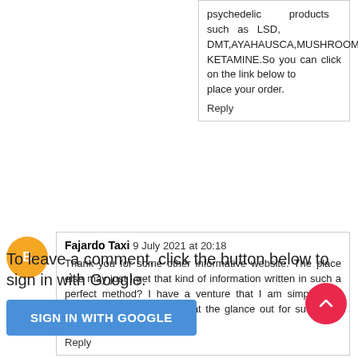psychedelic products such as LSD, DMT,AYAHAUSCA,MUSHROOM, KETAMINE.So you can click on the link below to place your order.

Reply
[Figure (illustration): Orange circular avatar icon with white blogger 'B' symbol]
Fajardo Taxi 9 July 2021 at 20:18

Thank you for some other informative website. The place else may just I get that kind of information written in such a perfect method? I have a venture that I am simply now running on, and I've been at the glance out for such info. Buy psychedelics online

Reply
To leave a comment, click the button below to sign in with Google.
SIGN IN WITH GOOGLE